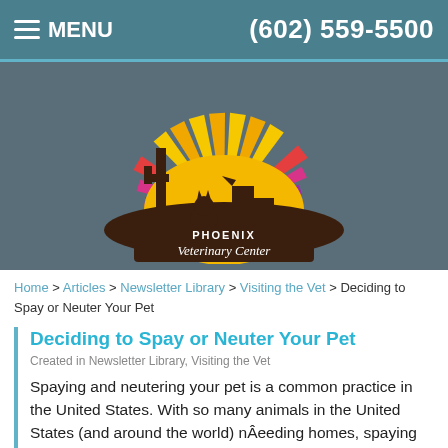MENU  (602) 559-5500
[Figure (logo): Phoenix Veterinary Center logo with cactus, cat, and dog silhouettes against a colorful desert sunset with radiating sunbeams]
Home > Articles > Newsletter Library > Visiting the Vet > Deciding to Spay or Neuter Your Pet
Deciding to Spay or Neuter Your Pet
Created in Newsletter Library, Visiting the Vet
Spaying and neutering your pet is a common practice in the United States. With so many animals in the United States (and around the world) nÂeeding homes, spaying or neutering your pet is the responsible way to help end pet homelessness.